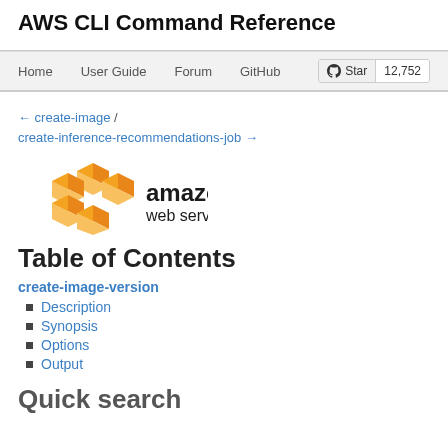AWS CLI Command Reference
Home   User Guide   Forum   GitHub   Star 12,752
← create-image / create-inference-recommendations-job →
[Figure (logo): Amazon Web Services logo with orange cube icon and 'amazon web services' text]
Table of Contents
create-image-version
Description
Synopsis
Options
Output
Quick search